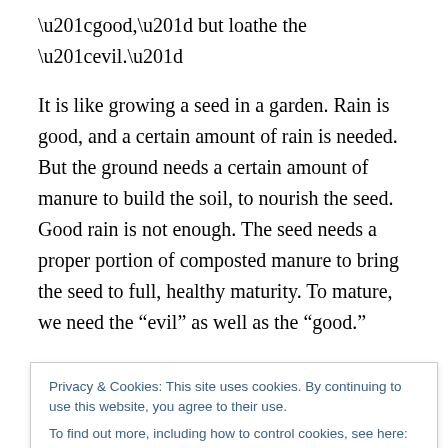“good,” but loathe the “evil.”
It is like growing a seed in a garden. Rain is good, and a certain amount of rain is needed. But the ground needs a certain amount of manure to build the soil, to nourish the seed. Good rain is not enough. The seed needs a proper portion of composted manure to bring the seed to full, healthy maturity. To mature, we need the “evil” as well as the “good.”
Believing this knowledge is paramount in understanding how the Gardener works. We must believe that God is
Privacy & Cookies: This site uses cookies. By continuing to use this website, you agree to their use.
To find out more, including how to control cookies, see here: Cookie Policy
hearts. We can begin to “resist not the evil.” How? By